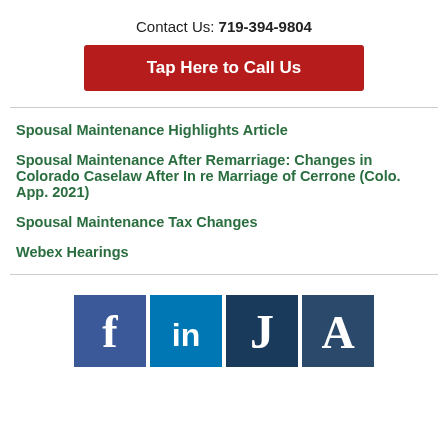Contact Us: 719-394-9804
Tap Here to Call Us
Spousal Maintenance Highlights Article
Spousal Maintenance After Remarriage: Changes in Colorado Caselaw After In re Marriage of Cerrone (Colo. App. 2021)
Spousal Maintenance Tax Changes
Webex Hearings
[Figure (logo): Social media icons: Facebook, LinkedIn, Justia (J), Avvo (A)]